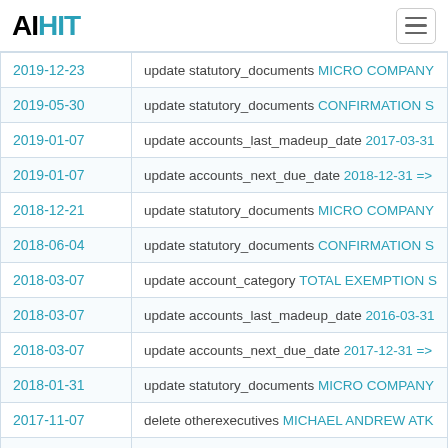AIHIT
| Date | Action |
| --- | --- |
| 2019-12-23 | update statutory_documents MICRO COMPANY... |
| 2019-05-30 | update statutory_documents CONFIRMATION S... |
| 2019-01-07 | update accounts_last_madeup_date 2017-03-31... |
| 2019-01-07 | update accounts_next_due_date 2018-12-31 =>... |
| 2018-12-21 | update statutory_documents MICRO COMPANY... |
| 2018-06-04 | update statutory_documents CONFIRMATION S... |
| 2018-03-07 | update account_category TOTAL EXEMPTION S... |
| 2018-03-07 | update accounts_last_madeup_date 2016-03-31... |
| 2018-03-07 | update accounts_next_due_date 2017-12-31 =>... |
| 2018-01-31 | update statutory_documents MICRO COMPANY... |
| 2017-11-07 | delete otherexecutives MICHAEL ANDREW ATK... |
| 2017-11-07 | delete person MICHAEL ANDREW ATKINSON |
| 2017-11-07 | update number_of_registered_officers 7 => 6 |